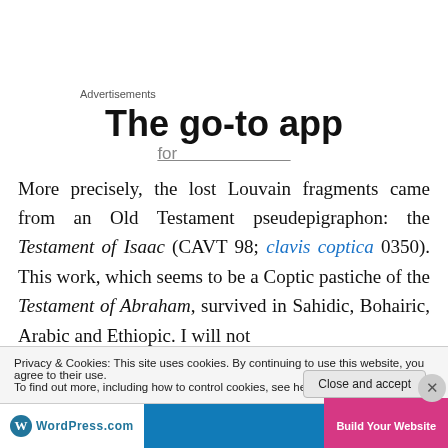Advertisements
[Figure (other): Ad banner showing 'The go-to app' headline with partial subtitle text]
More precisely, the lost Louvain fragments came from an Old Testament pseudepigraphon: the Testament of Isaac (CAVT 98; clavis coptica 0350). This work, which seems to be a Coptic pastiche of the Testament of Abraham, survived in Sahidic, Bohairic, Arabic and Ethiopic. I will not
Privacy & Cookies: This site uses cookies. By continuing to use this website, you agree to their use.
To find out more, including how to control cookies, see here: Cookie Policy
Close and accept
[Figure (logo): WordPress.com footer banner with 'Build Your Website' CTA]